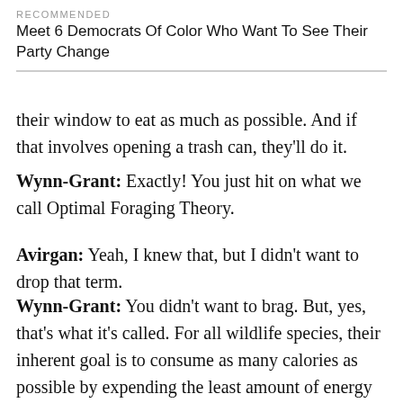RECOMMENDED
Meet 6 Democrats Of Color Who Want To See Their Party Change
their window to eat as much as possible. And if that involves opening a trash can, they'll do it.
Wynn-Grant: Exactly! You just hit on what we call Optimal Foraging Theory.
Avirgan: Yeah, I knew that, but I didn't want to drop that term.
Wynn-Grant: You didn't want to brag. But, yes, that's what it's called. For all wildlife species, their inherent goal is to consume as many calories as possible by expending the least amount of energy possible. And people do that too. It's way easier for us to go to the grocery store than it is to grow and harvest our own food. Bears are doing that.